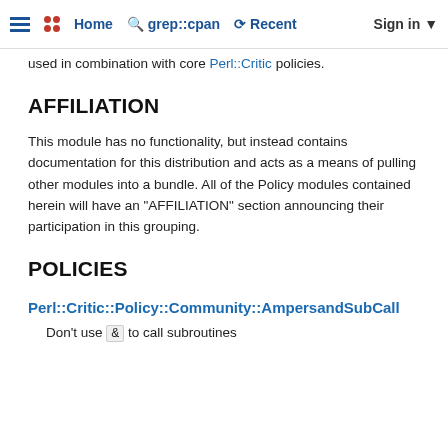Home | grep::cpan | Recent | Sign in
used in combination with core Perl::Critic policies.
AFFILIATION
This module has no functionality, but instead contains documentation for this distribution and acts as a means of pulling other modules into a bundle. All of the Policy modules contained herein will have an "AFFILIATION" section announcing their participation in this grouping.
POLICIES
Perl::Critic::Policy::Community::AmpersandSubCall
Don't use & to call subroutines